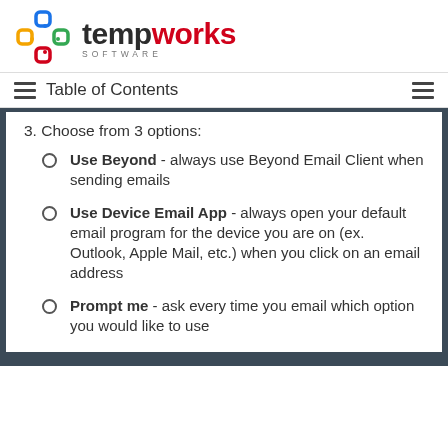tempworks SOFTWARE
Table of Contents
3. Choose from 3 options:
Use Beyond - always use Beyond Email Client when sending emails
Use Device Email App - always open your default email program for the device you are on (ex. Outlook, Apple Mail, etc.) when you click on an email address
Prompt me - ask every time you email which option you would like to use